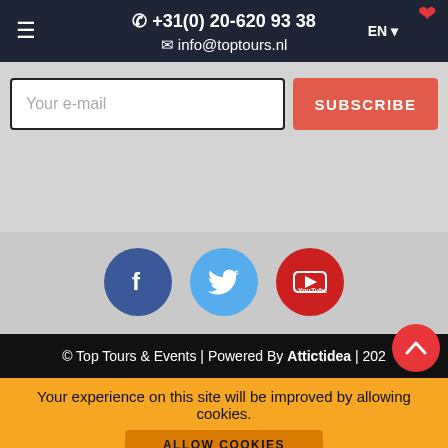+31(0) 20-620 93 38 | info@toptours.nl | EN
Your e-mail
SUBSCRIBE
[Figure (illustration): Social media buttons: Facebook (blue circle with f), Twitter (light blue circle with bird), YouTube (red circle with play button)]
© Top Tours & Events | Powered By Attictidea | 202...
Your experience on this site will be improved by allowing cookies.
ALLOW COOKIES